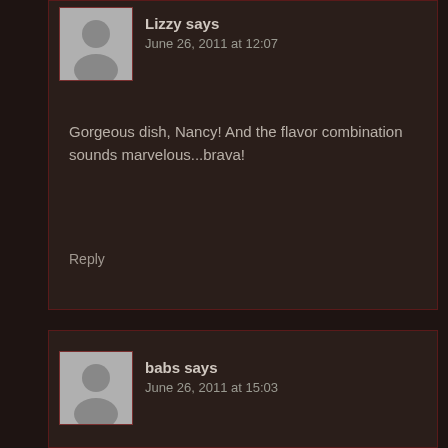Lizzy says
June 26, 2011 at 12:07
Gorgeous dish, Nancy! And the flavor combination sounds marvelous...brava!
Reply
babs says
June 26, 2011 at 15:03